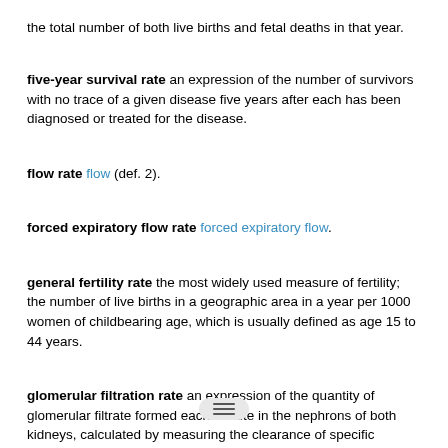the total number of both live births and fetal deaths in that year.
five-year survival rate an expression of the number of survivors with no trace of a given disease five years after each has been diagnosed or treated for the disease.
flow rate flow (def. 2).
forced expiratory flow rate forced expiratory flow.
general fertility rate the most widely used measure of fertility; the number of live births in a geographic area in a year per 1000 women of childbearing age, which is usually defined as age 15 to 44 years.
glomerular filtration rate an expression of the quantity of glomerular filtrate formed each minute in the nephrons of both kidneys, calculated by measuring the clearance of specific substances, e.g., inulin or creatinine.
growth rate an expression of the increase in size of an organic object per unit of time.
heart rate the number of contractions of the cardiac ventricles per unit of time (usually per minute).
incidence rate the risk of developing a particular disease during a